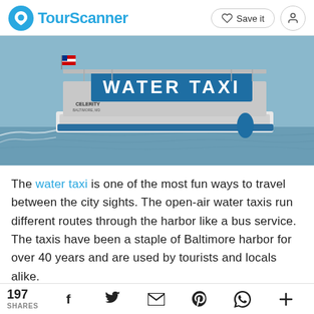TourScanner — Save it | User icon
[Figure (photo): A blue and white water taxi boat named 'Celerity' on the water, with a large blue sign reading 'WATER TAXI' on its upper deck, and an American flag visible.]
The water taxi is one of the most fun ways to travel between the city sights. The open-air water taxis run different routes through the harbor like a bus service. The taxis have been a staple of Baltimore harbor for over 40 years and are used by tourists and locals alike.
197 SHARES — Facebook, Twitter, Email, Pinterest, WhatsApp, More